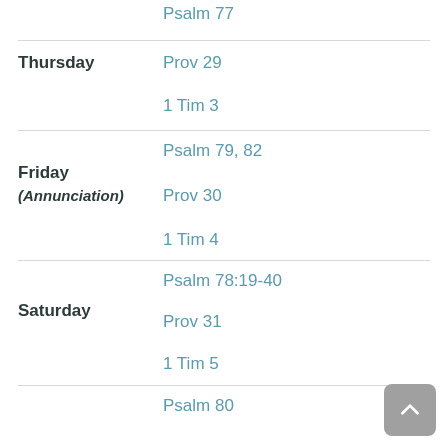Psalm 77
Thursday
Prov 29
1 Tim 3
Friday
(Annunciation)
Psalm 79, 82
Prov 30
1 Tim 4
Saturday
Psalm 78:19-40
Prov 31
1 Tim 5
Psalm 80